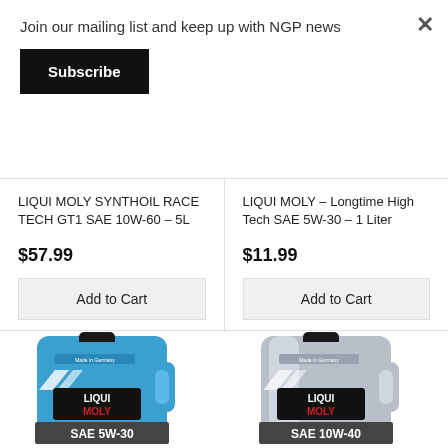Join our mailing list and keep up with NGP news
Subscribe
×
LIQUI MOLY SYNTHOIL RACE TECH GT1 SAE 10W-60 – 5L
$57.99
Add to Cart
LIQUI MOLY – Longtime High Tech SAE 5W-30 – 1 Liter
$11.99
Add to Cart
[Figure (photo): Blue LIQUI MOLY motor oil bottle, SAE 5W-30]
[Figure (photo): Silver/grey LIQUI MOLY motor oil bottle, SAE 10W-40]